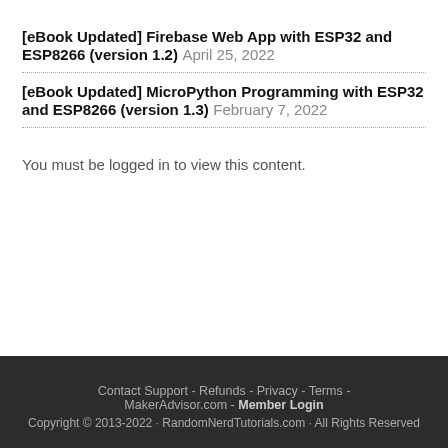[eBook Updated] Firebase Web App with ESP32 and ESP8266 (version 1.2) April 25, 2022
[eBook Updated] MicroPython Programming with ESP32 and ESP8266 (version 1.3) February 7, 2022
You must be logged in to view this content.
Contact Support - Refunds - Privacy - Terms - MakerAdvisor.com - Member Login Copyright © 2013-2022 · RandomNerdTutorials.com · All Rights Reserved